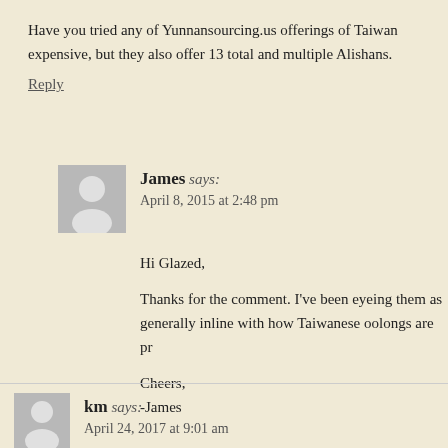Have you tried any of Yunnansourcing.us offerings of Taiwan expensive, but they also offer 13 total and multiple Alishans.
Reply
James says: April 8, 2015 at 2:48 pm
Hi Glazed,

Thanks for the comment. I've been eyeing them as generally inline with how Taiwanese oolongs are pr

Cheers,
-James
Reply
km says: April 24, 2017 at 9:01 am